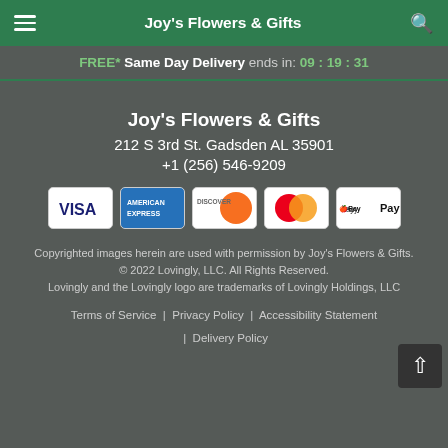Joy's Flowers & Gifts
FREE* Same Day Delivery ends in: 09:19:31
Joy's Flowers & Gifts
212 S 3rd St. Gadsden AL 35901
+1 (256) 546-9209
[Figure (logo): Payment method icons: VISA, American Express, Discover, Mastercard, Apple Pay]
Copyrighted images herein are used with permission by Joy's Flowers & Gifts.
© 2022 Lovingly, LLC. All Rights Reserved.
Lovingly and the Lovingly logo are trademarks of Lovingly Holdings, LLC
Terms of Service | Privacy Policy | Accessibility Statement | Delivery Policy